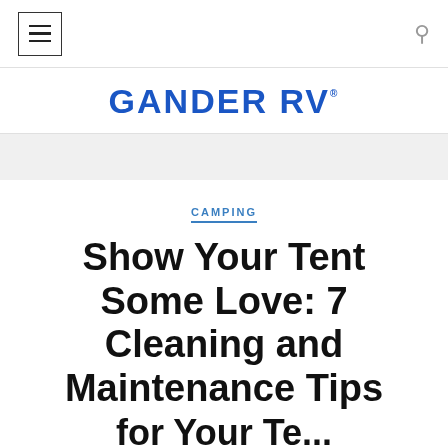≡  🔍
[Figure (logo): Gander RV logo in bold blue uppercase text]
CAMPING
Show Your Tent Some Love: 7 Cleaning and Maintenance Tips for Your Tent